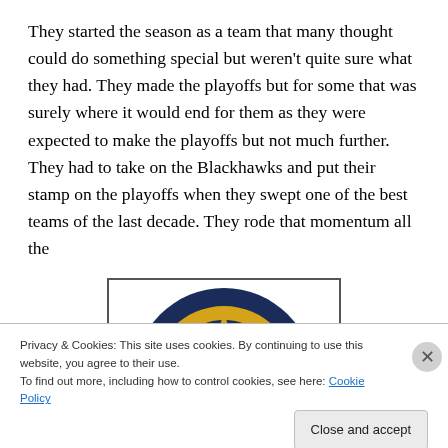They started the season as a team that many thought could do something special but weren't quite sure what they had. They made the playoffs but for some that was surely where it would end for them as they were expected to make the playoffs but not much further. They had to take on the Blackhawks and put their stamp on the playoffs when they swept one of the best teams of the last decade. They rode that momentum all the
[Figure (logo): Partial view of a sports team logo featuring a circular design with dark blue and gold/yellow colors, with stars visible]
Privacy & Cookies: This site uses cookies. By continuing to use this website, you agree to their use.
To find out more, including how to control cookies, see here: Cookie Policy